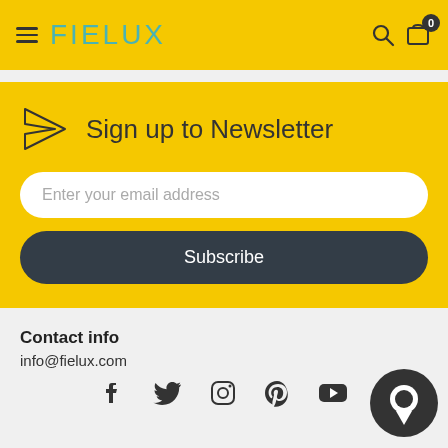FIELUX
Sign up to Newsletter
Enter your email address
Subscribe
Contact info
info@fielux.com